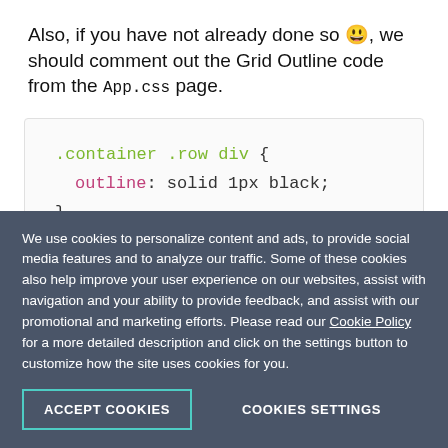Also, if you have not already done so 😀, we should comment out the Grid Outline code from the App.css page.
[Figure (screenshot): Code block showing CSS: .container .row div { outline: solid 1px black; }]
We use cookies to personalize content and ads, to provide social media features and to analyze our traffic. Some of these cookies also help improve your user experience on our websites, assist with navigation and your ability to provide feedback, and assist with our promotional and marketing efforts. Please read our Cookie Policy for a more detailed description and click on the settings button to customize how the site uses cookies for you.